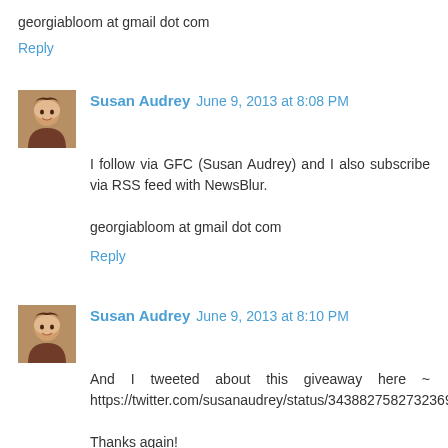georgiabloom at gmail dot com
Reply
Susan Audrey  June 9, 2013 at 8:08 PM
I follow via GFC (Susan Audrey) and I also subscribe via RSS feed with NewsBlur.

georgiabloom at gmail dot com
Reply
Susan Audrey  June 9, 2013 at 8:10 PM
And I tweeted about this giveaway here ~ https://twitter.com/susanaudrey/status/343882758273236992

Thanks again!